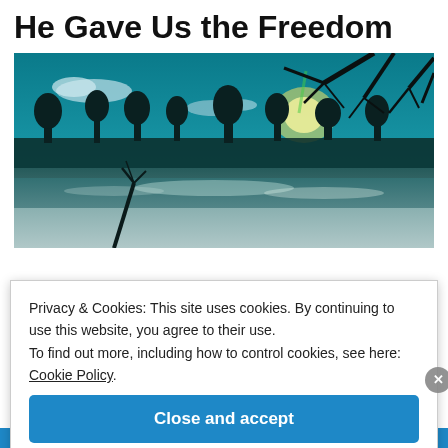He Gave Us the Freedom
[Figure (photo): Winter landscape photograph showing a frozen or snowy river/lake with bare trees silhouetted against a teal/blue sky with clouds and sunlight reflecting on the water surface. Bare tree branches visible in upper right corner.]
Privacy & Cookies: This site uses cookies. By continuing to use this website, you agree to their use.
To find out more, including how to control cookies, see here: Cookie Policy.
Close and accept